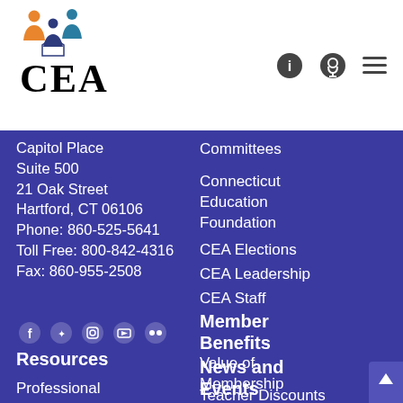[Figure (logo): CEA logo with colorful figure icon above the text 'CEA']
[Figure (infographic): Header navigation icons: info circle, podcast/microphone icon, hamburger menu]
Capitol Place Suite 500 21 Oak Street Hartford, CT 06106 Phone: 860-525-5641 Toll Free: 800-842-4316 Fax: 860-955-2508
[Figure (infographic): Social media icons: Facebook, Twitter, Instagram, YouTube, Flickr]
Resources
Professional
Committees
Connecticut Education Foundation
CEA Elections
CEA Leadership
CEA Staff
Member Benefits
Value of Membership
Teacher Discounts
News and Events
CEA